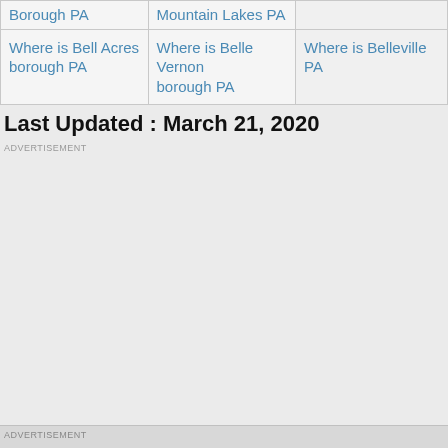| Borough PA | Mountain Lakes PA |  |
| Where is Bell Acres borough PA | Where is Belle Vernon borough PA | Where is Belleville PA |
Last Updated : March 21, 2020
ADVERTISEMENT
ADVERTISEMENT